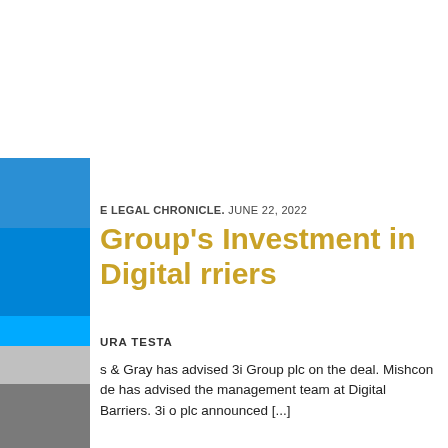E LEGAL CHRONICLE, JUNE 22, 2022
Group's Investment in Digital rriers
URA TESTA
s & Gray has advised 3i Group plc on the deal. Mishcon de has advised the management team at Digital Barriers. 3i o plc announced [...]